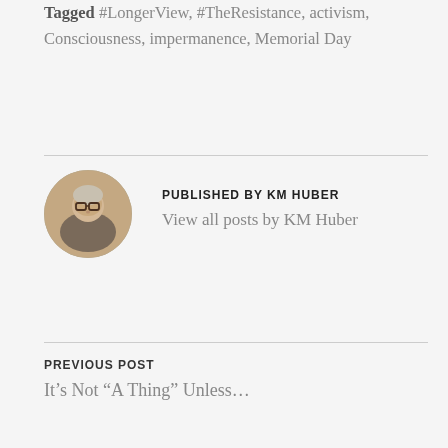Tagged #LongerView, #TheResistance, activism, Consciousness, impermanence, Memorial Day
[Figure (photo): Circular avatar photo of KM Huber, an older person with glasses and short hair]
PUBLISHED BY KM HUBER
View all posts by KM Huber
PREVIOUS POST
It's Not “A Thing” Unless…